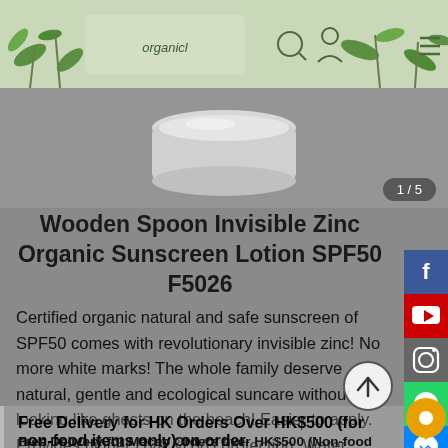[Figure (screenshot): Website header banner with green leaf decorations and logo on gray-green background]
1 / 5
[Figure (photo): Product image of a round white/gray jar of sunscreen lotion, partially visible at top]
Wooden Spoon Invisible Zinc Organic Sunscreen Lotion SPF50 F5026
Certified organic natural and safe sunscreen of SPF50 comes with revolutionary invisible zinc! No more white marks! The whole family deserve natural, gentle and ecological suncare without looking like ghosts on the beach! Easier to apply. Provides higher UVA &UVB protection. Water resistant.
Free Delivery for HK Orders Over HK$500 (for non-food items only) on order
Free Delivery for Macao Orders over HK$500 (Non-food items: